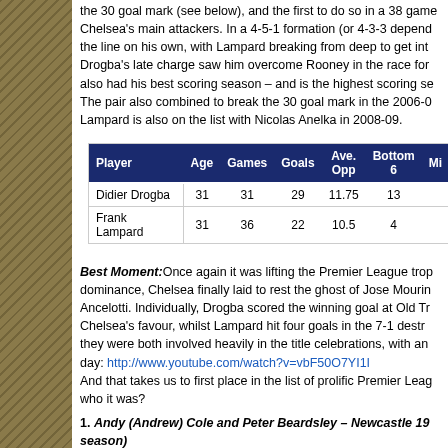the 30 goal mark (see below), and the first to do so in a 38 game Chelsea's main attackers. In a 4-5-1 formation (or 4-3-3 depend the line on his own, with Lampard breaking from deep to get int Drogba's late charge saw him overcome Rooney in the race for also had his best scoring season – and is the highest scoring se The pair also combined to break the 30 goal mark in the 2006-0 Lampard is also on the list with Nicolas Anelka in 2008-09.
| Player | Age | Games | Goals | Ave. Opp | Bottom 6 | Mi |
| --- | --- | --- | --- | --- | --- | --- |
| Didier Drogba | 31 | 31 | 29 | 11.75 | 13 |  |
| Frank Lampard | 31 | 36 | 22 | 10.5 | 4 |  |
Best Moment:Once again it was lifting the Premier League trop dominance, Chelsea finally laid to rest the ghost of Jose Mourin Ancelotti. Individually, Drogba scored the winning goal at Old Tr Chelsea's favour, whilst Lampard hit four goals in the 7-1 destr they were both involved heavily in the title celebrations, with an day: http://www.youtube.com/watch?v=vbF50O7YI1I And that takes us to first place in the list of prolific Premier Leag who it was?
1. Andy (Andrew) Cole and Peter Beardsley – Newcastle 19 season)